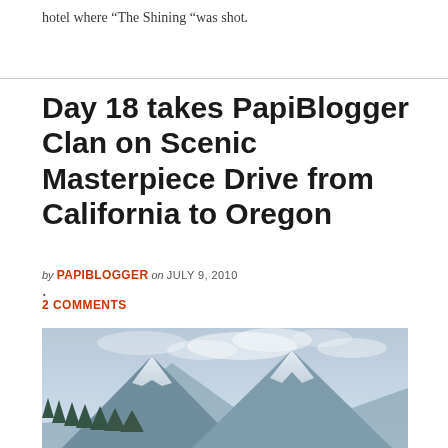hotel where “The Shining “was shot.
Day 18 takes PapiBlogger Clan on Scenic Masterpiece Drive from California to Oregon
by PAPIBLOGGER on JULY 9, 2010
· 
2 COMMENTS
[Figure (photo): Snow-capped mountain peaks with dramatic cloudy sky, teal/blue tones, conifer trees in foreground]